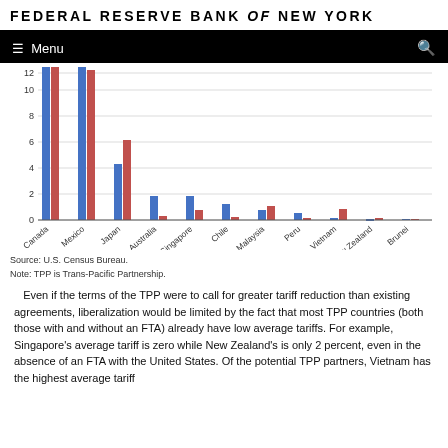FEDERAL RESERVE BANK of NEW YORK
[Figure (grouped-bar-chart): U.S. Trade with TPP Countries]
Source: U.S. Census Bureau.
Note: TPP is Trans-Pacific Partnership.
Even if the terms of the TPP were to call for greater tariff reduction than existing agreements, liberalization would be limited by the fact that most TPP countries (both those with and without an FTA) already have low average tariffs. For example, Singapore's average tariff is zero while New Zealand's is only 2 percent, even in the absence of an FTA with the United States. Of the potential TPP partners, Vietnam has the highest average tariff